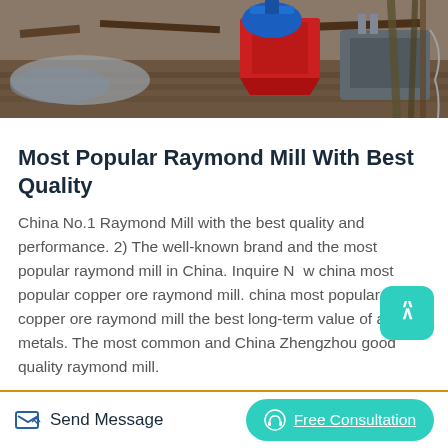[Figure (photo): Industrial machinery photo showing a raymond mill or similar equipment with red and blue parts in a workshop/outdoor setting]
Most Popular Raymond Mill With Best Quality
China No.1 Raymond Mill with the best quality and performance. 2) The well-known brand and the most popular raymond mill in China. Inquire Now china most popular copper ore raymond mill. china most popular copper ore raymond mill the best long-term value of all metals. The most common and China Zhengzhou good quality raymond mill.
Read More
Send Message
Free Consultation